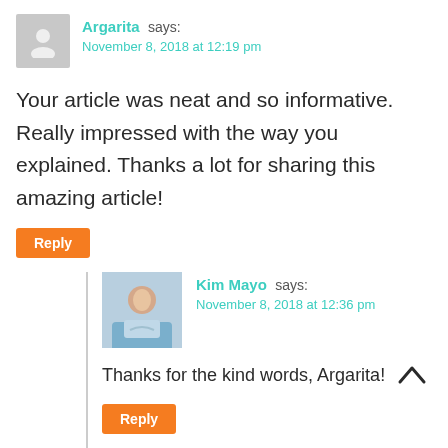Argarita says:
November 8, 2018 at 12:19 pm
Your article was neat and so informative. Really impressed with the way you explained. Thanks a lot for sharing this amazing article!
Reply
Kim Mayo says:
November 8, 2018 at 12:36 pm
Thanks for the kind words, Argarita!
Reply
Melissa M Burke says: